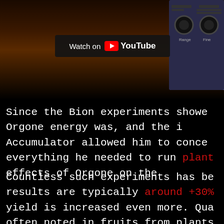[Figure (screenshot): YouTube video thumbnail showing a device with knobs on a wooden surface, with a 'Watch on YouTube' overlay button]
Since the Bion experiments showe Orgone energy was, and the i Accumulator allowed him to conce everything he needed to run plant effects of Orgone on the
Countless such experiments has be results are typically around +30% yield is increased even more. Qua often noted in fruits from plants